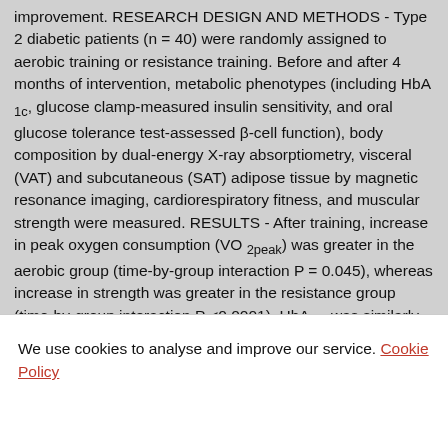improvement. RESEARCH DESIGN AND METHODS - Type 2 diabetic patients (n = 40) were randomly assigned to aerobic training or resistance training. Before and after 4 months of intervention, metabolic phenotypes (including HbA 1c, glucose clamp-measured insulin sensitivity, and oral glucose tolerance test-assessed β-cell function), body composition by dual-energy X-ray absorptiometry, visceral (VAT) and subcutaneous (SAT) adipose tissue by magnetic resonance imaging, cardiorespiratory fitness, and muscular strength were measured. RESULTS - After training, increase in peak oxygen consumption (VO 2peak) was greater in the aerobic group (time-by-group interaction P = 0.045), whereas increase in strength was greater in the resistance group (time-by-group interaction P <0.0001). HbA 1c was similarly reduced in both groups (-0.40% [95% CI -0.61 to -0.18] vs. -0.35% [-0.59 to -0.10], respectively). Total and truncal fat, VAT, and SAT were also similarly reduced in both groups, whereas insulin sensitivity and lean limb mass were
We use cookies to analyse and improve our service. Cookie Policy